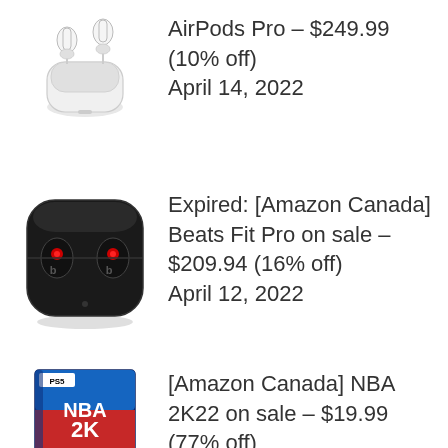[Figure (photo): AirPods Pro earbuds and case illustration]
AirPods Pro – $249.99 (10% off)
April 14, 2022
[Figure (photo): Beats Fit Pro wireless earbuds in black charging case]
Expired: [Amazon Canada] Beats Fit Pro on sale – $209.94 (16% off)
April 12, 2022
[Figure (photo): NBA 2K22 PS5 game box cover]
[Amazon Canada] NBA 2K22 on sale – $19.99 (77% off)